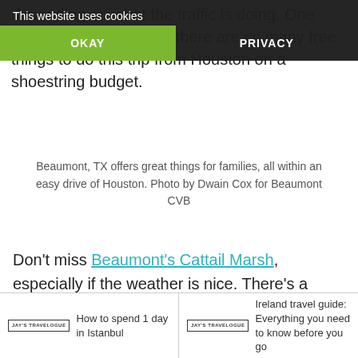depending on what the traffic is doing. One bonus of driving is that there are so many free things to do this trip from Houston on a shoestring budget.
[Figure (other): Cookie consent overlay banner with dark background, green OKAY button and PRIVACY text button]
Beaumont, TX offers great things for families, all within an easy drive of Houston. Photo by Dwain Cox for Beaumont CVB
Don't miss Beaumont's Cattail Marsh, especially if the weather is nice. There's a boardwalk overlooking scenic wetlands that are great for wildlife watching. You might even spot an alligator.
How to spend 1 day in Istanbul | Ireland travel guide: Everything you need to know before you go